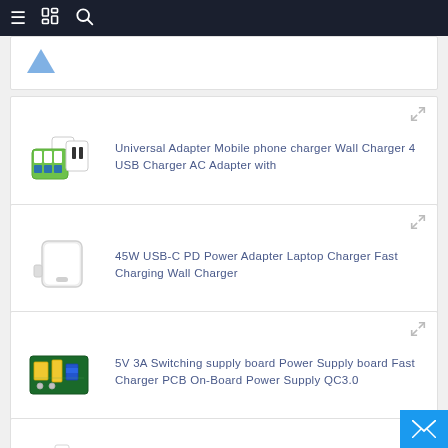Navigation bar with hamburger menu, book icon, and search icon
[Figure (photo): Partially visible product card at top of page]
Universal Adapter Mobile phone charger Wall Charger 4 USB Charger AC Adapter with
[Figure (photo): Green and white universal travel adapter with multiple USB ports]
45W USB-C PD Power Adapter Laptop Charger Fast Charging Wall Charger
[Figure (photo): White USB-C power adapter wall charger]
5V 3A Switching supply board Power Supply board Fast Charger PCB On-Board Power Supply QC3.0
[Figure (photo): PCB circuit board power supply module with components]
Wired Wall Charger Dual USB Fast Chargeing Adapter 5V iPhone charger